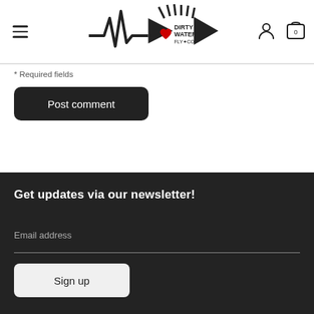Dirty Water Fly Co. — navigation header with logo, hamburger menu, user icon, and cart (0)
* Required fields
Post comment
Get updates via our newsletter!
Email address
Sign up